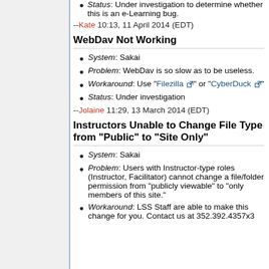Status: Under investigation to determine whether this is an e-Learning bug.
--Kate 10:13, 11 April 2014 (EDT)
WebDav Not Working
System: Sakai
Problem: WebDav is so slow as to be useless.
Workaround: Use "Filezilla" or "CyberDuck"
Status: Under investigation
--Jolaine 11:29, 13 March 2014 (EDT)
Instructors Unable to Change File Type from "Public" to "Site Only"
System: Sakai
Problem: Users with Instructor-type roles (Instructor, Facilitator) cannot change a file/folder permission from "publicly viewable" to "only members of this site."
Workaround: LSS Staff are able to make this change for you. Contact us at 352.392.4357x3